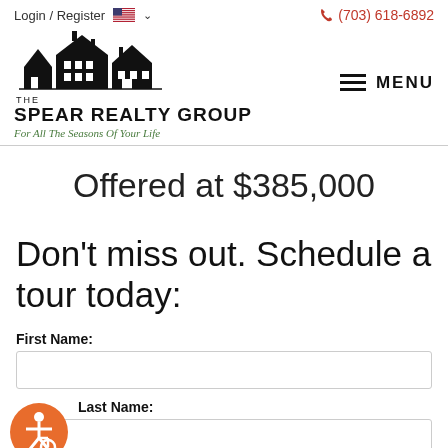Login / Register   (703) 618-6892
[Figure (logo): The Spear Realty Group logo with houses silhouette, tagline 'For All The Seasons Of Your Life']
Offered at $385,000
Don't miss out. Schedule a tour today:
First Name:
Last Name: